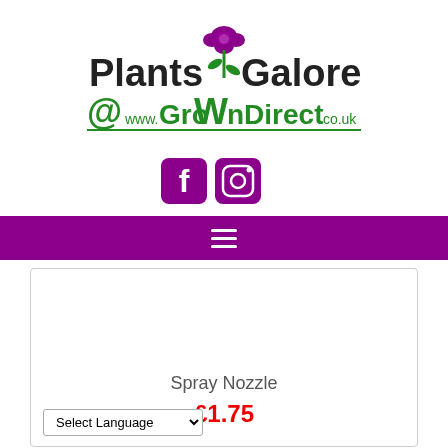[Figure (logo): Plants Galore @ www.GroWnDirect.co.uk logo with purple rose graphic and green underline]
[Figure (illustration): Social media icons: Facebook and Instagram in purple]
[Figure (illustration): Purple navigation bar with white hamburger menu icon]
Spray Nozzle
£1.75
Select Language